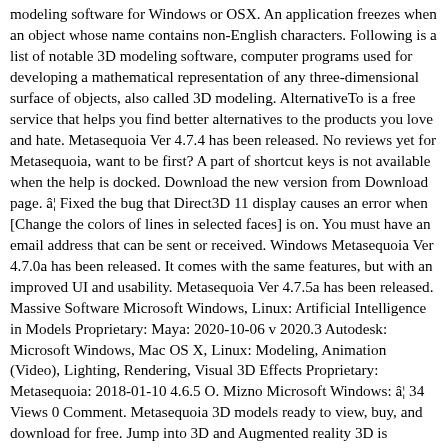modeling software for Windows or OSX. An application freezes when an object whose name contains non-English characters. Following is a list of notable 3D modeling software, computer programs used for developing a mathematical representation of any three-dimensional surface of objects, also called 3D modeling. AlternativeTo is a free service that helps you find better alternatives to the products you love and hate. Metasequoia Ver 4.7.4 has been released. No reviews yet for Metasequoia, want to be first? A part of shortcut keys is not available when the help is docked. Download the new version from Download page. â¦ Fixed the bug that Direct3D 11 display causes an error when [Change the colors of lines in selected faces] is on. You must have an email address that can be sent or received. Windows Metasequoia Ver 4.7.0a has been released. It comes with the same features, but with an improved UI and usability. Metasequoia Ver 4.7.5a has been released. Massive Software Microsoft Windows, Linux: Artificial Intelligence in Models Proprietary: Maya: 2020-10-06 v 2020.3 Autodesk: Microsoft Windows, Mac OS X, Linux: Modeling, Animation (Video), Lighting, Rendering, Visual 3D Effects Proprietary: Metasequoia: 2018-01-10 4.6.5 O. Mizno Microsoft Windows: â¦ 34 Views 0 Comment. Metasequoia 3D models ready to view, buy, and download for free. Jump into 3D and Augmented reality 3D is becoming as common as JPEGs in design. Software with tags Metasequoia / In the AvaxHome Software category, we have gathered a number of useful computer programs for Mac OS and Windows. [Apply bind poses] option has been add in FBX importer. This update provisionally supports macOS Big Sur (confirmed in beta version), and includes some improvements. It fixes buf for importing and exporting .fbx files. Metasequoia 4.7 (Ver 4.7.5) has been released. iPad: Mizno ti